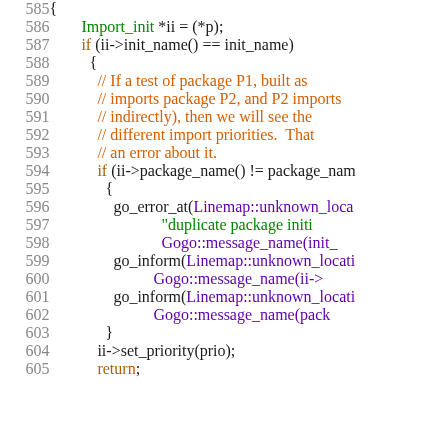Source code listing lines 585-605, C++ code showing Import_init pointer loop with package name duplicate check and error reporting.